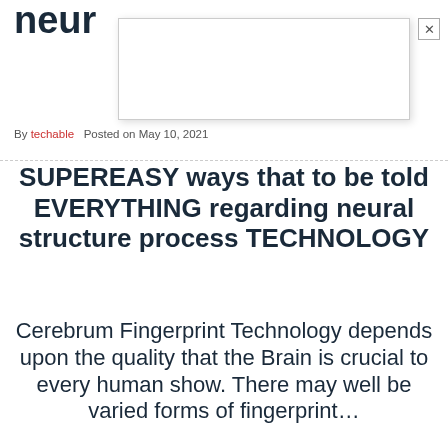neur…
By techable   Posted on May 10, 2021
SUPEREASY ways that to be told EVERYTHING regarding neural structure process TECHNOLOGY
Cerebrum Fingerprint Technology depends upon the quality that the Brain is crucial to every human show. There may well be varied forms of fingerprint…